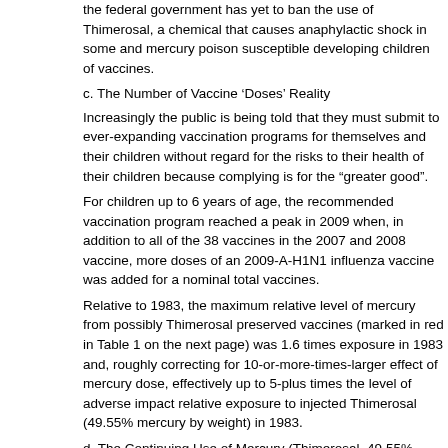the federal government has yet to ban the use of Thimerosal, a chemical that causes anaphylactic shock in some and mercury poison susceptible developing children of vaccines.
c. The Number of Vaccine ‘Doses’ Reality
Increasingly the public is being told that they must submit to ever-expanding vaccination programs for themselves and their children without regard for the risks to their health of their children because complying is for the “greater good”.
For children up to 6 years of age, the recommended vaccination program reached a peak in 2009 when, in addition to all of the 38 vaccines in the 2007 and 2008 vaccine, more doses of an 2009-A-H1N1 influenza vaccine was added for a nominal total vaccines.
Relative to 1983, the maximum relative level of mercury from possibly Thimerosal preserved vaccines (marked in red in Table 1 on the next page) was 1.6 times exposure in 1983 and, roughly correcting for 10-or-more-times-larger effect of mercury dose, effectively up to 5-plus times the level of adverse impact relative exposure to injected Thimerosal (49.55% mercury by weight) in 1983.
d. The Continuing Use of Mercury (Thimerosal, 49.55% Mercury by Weight) R
When it comes to the issues surrounding the serious adverse health impacts of (49.55% mercury by weight) on those vaccinated with vaccines containing it, the continually propagandized with one of two misleading and inaccurate slogans:
1. “Mercury has been removed from all childhood vaccines” or
2. “All vaccines given to children, except some flu vaccines, no longer contain